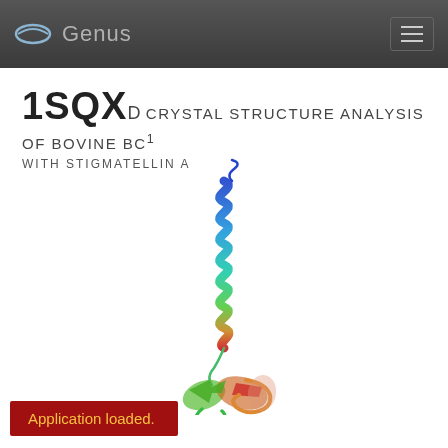Genus
1SQXd Crystal structure analysis of bovine bc1 with stigmatellin a
[Figure (illustration): Protein structure ribbon diagram of 1SQXD showing a long alpha-helical coil (rainbow colored from blue at top to green/red at bottom) connected to a beta-sheet domain at the bottom, rendered in 3D ribbon representation.]
Application loaded.